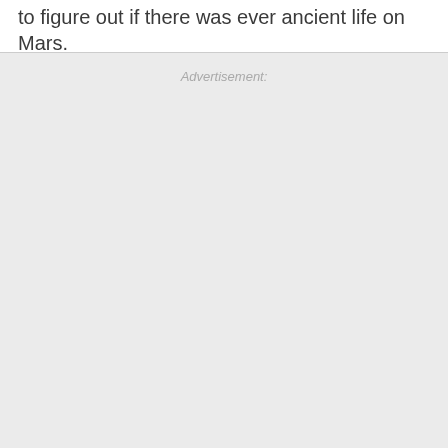to figure out if there was ever ancient life on Mars.
Advertisement: